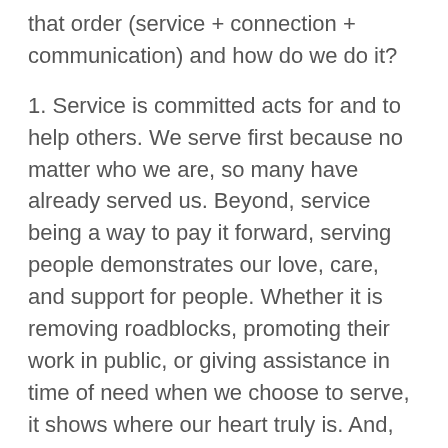that order (service + connection + communication) and how do we do it?
1. Service is committed acts for and to help others. We serve first because no matter who we are, so many have already served us. Beyond, service being a way to pay it forward, serving people demonstrates our love, care, and support for people. Whether it is removing roadblocks, promoting their work in public, or giving assistance in time of need when we choose to serve, it shows where our heart truly is. And, knowing that someone's heart is for them invites honest connection.
2. Proximity and connection are associated, but not synonymous. Don't dismiss proximity as important,